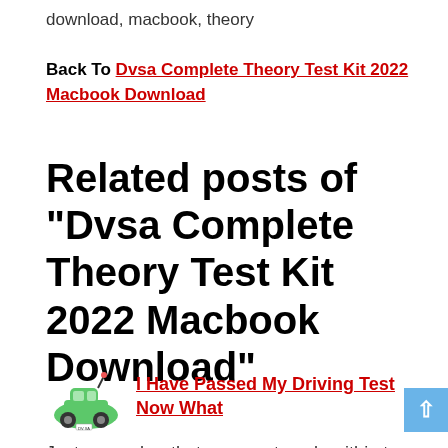download, macbook, theory
Back To Dvsa Complete Theory Test Kit 2022 Macbook Download
Related posts of "Dvsa Complete Theory Test Kit 2022 Macbook Download"
[Figure (illustration): Small green cartoon car icon]
I Have Passed My Driving Test Now What
Just remember that you must apply within two years of passing your driving test. The driving test measures your ability to drive legally and safely. Pin On Last Minute Driving Test Car Hire